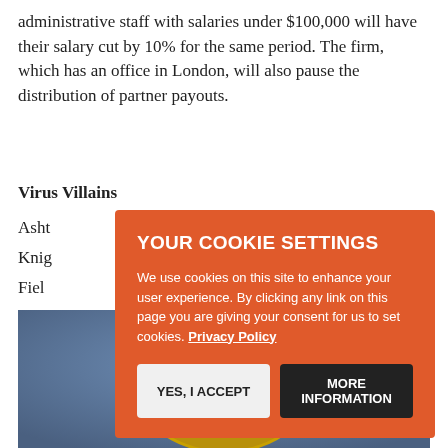administrative staff with salaries under $100,000 will have their salary cut by 10% for the same period. The firm, which has an office in London, will also pause the distribution of partner payouts.
Virus Villains
Asht
Knig
Fiel
Bret
Cad
[Figure (other): Cookie consent overlay with orange background. Title: YOUR COOKIE SETTINGS. Body text: We use cookies on this site to enhance your user experience. By clicking any link on this page you are giving your consent for us to set cookies. Privacy Policy. Two buttons: YES, I ACCEPT and MORE INFORMATION.]
[Figure (illustration): Cartoon animated villain character: a large disembodied brain with purple eyes, set in a yellow mechanical helmet/frame, blue background. Classic animated style villain.]